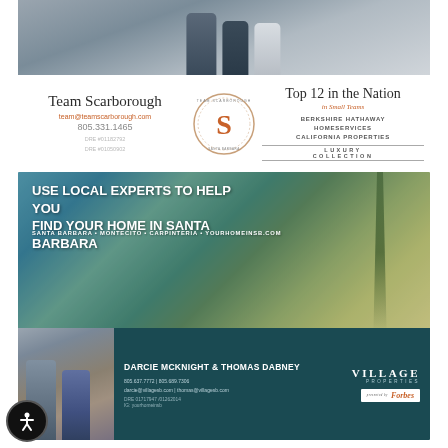[Figure (photo): Team Scarborough real estate agents group photo at top of advertisement]
Team Scarborough
team@teamscarborough.com
805.331.1465
DRE #01182792
DRE #01050902
[Figure (logo): Team Scarborough circular logo with S monogram]
Top 12 in the Nation
in Small Teams
BERKSHIRE HATHAWAY
HomeServices
California Properties
LUXURY COLLECTION
[Figure (photo): Santa Barbara beach coastal landscape advertisement for Village Properties]
USE LOCAL EXPERTS TO HELP YOU FIND YOUR HOME IN SANTA BARBARA
SANTA BARBARA • MONTECITO • CARPINTERIA • YOURHOMEINSB.COM
[Figure (photo): Darcie McKnight and Thomas Dabney agent photo]
DARCIE MCKNIGHT & THOMAS DABNEY
805.637.7772 | 805.689.7306
darcie@villagesb.com | thomas@villagesb.com
DRE 01717947 /01262014
IG: yourhomeinsb
[Figure (logo): Village Properties logo with Forbes affiliation]